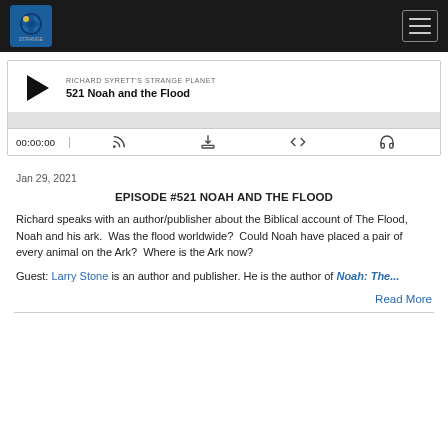Richard Syrett's Strange Planet — navigation header with logo and hamburger menu
[Figure (screenshot): Podcast player widget showing play button, episode title '521 Noah and the Flood', podcast name 'RICHARD SYRETT'S STRANGE PLANET', progress bar, time display 00:00:00, and control icons for subscribe, download, embed, and share.]
Jan 29, 2021
EPISODE #521 NOAH AND THE FLOOD
Richard speaks with an author/publisher about the Biblical account of The Flood, Noah and his ark.  Was the flood worldwide?  Could Noah have placed a pair of every animal on the Ark?  Where is the Ark now?
Guest: Larry Stone is an author and publisher. He is the author of Noah: The...
Read More